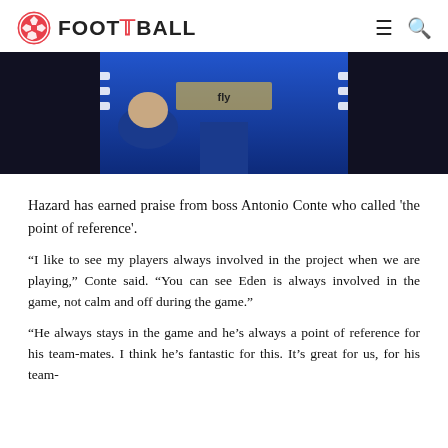FOOT THE BALL
[Figure (photo): A footballer wearing a blue jersey (Chelsea kit) with white stripes on the arms, photographed from the torso down, mid-action on a dark background.]
Hazard has earned praise from boss Antonio Conte who called 'the point of reference'.
“I like to see my players always involved in the project when we are playing,” Conte said. “You can see Eden is always involved in the game, not calm and off during the game.”
“He always stays in the game and he’s always a point of reference for his team-mates. I think he’s fantastic for this. It’s great for us, for his team-